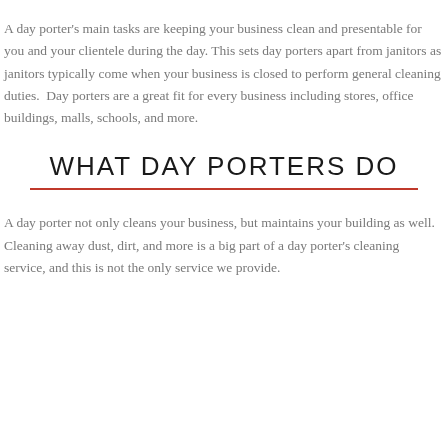A day porter's main tasks are keeping your business clean and presentable for you and your clientele during the day. This sets day porters apart from janitors as janitors typically come when your business is closed to perform general cleaning duties. Day porters are a great fit for every business including stores, office buildings, malls, schools, and more.
WHAT DAY PORTERS DO
A day porter not only cleans your business, but maintains your building as well. Cleaning away dust, dirt, and more is a big part of a day porter's cleaning service, and this is not the only service we provide.